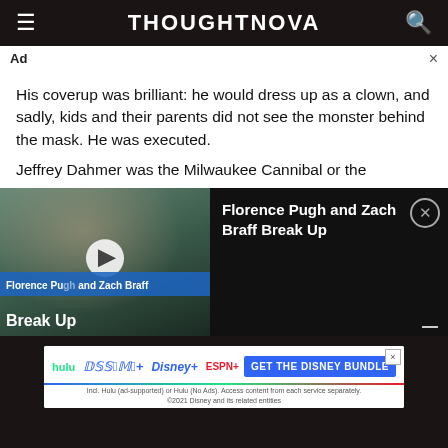THOUGHTNOVA
Ad
His coverup was brilliant: he would dress up as a clown, and sadly, kids and their parents did not see the monster behind the mask. He was executed.
Jeffrey Dahmer was the Milwaukee Cannibal or the
[Figure (screenshot): Video player overlay showing Florence Pugh at an event in a green dress, with a play button, caption bar reading 'Florence Pugh and Zach Braff' and large text 'Break Up'. To the right is a dark panel with text 'Florence Pugh and Zach Braff Break Up' and a close button.]
[Figure (screenshot): Disney Bundle advertisement showing Hulu, Disney+, ESPN+ logos and a blue 'GET THE DISNEY BUNDLE' button. Fine print reads: Incl. Hulu (ad-supported) or Hulu (No Ads). Access content from each service separately. ©2021 Disney and its related entities]